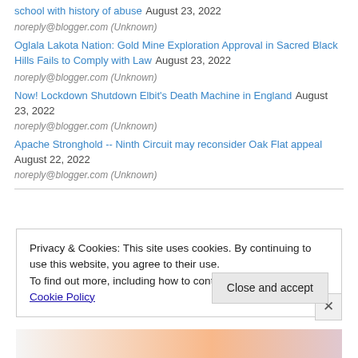school with history of abuse August 23, 2022
noreply@blogger.com (Unknown)
Oglala Lakota Nation: Gold Mine Exploration Approval in Sacred Black Hills Fails to Comply with Law August 23, 2022
noreply@blogger.com (Unknown)
Now! Lockdown Shutdown Elbit's Death Machine in England August 23, 2022
noreply@blogger.com (Unknown)
Apache Stronghold -- Ninth Circuit may reconsider Oak Flat appeal August 22, 2022
noreply@blogger.com (Unknown)
Privacy & Cookies: This site uses cookies. By continuing to use this website, you agree to their use. To find out more, including how to control cookies, see here: Cookie Policy